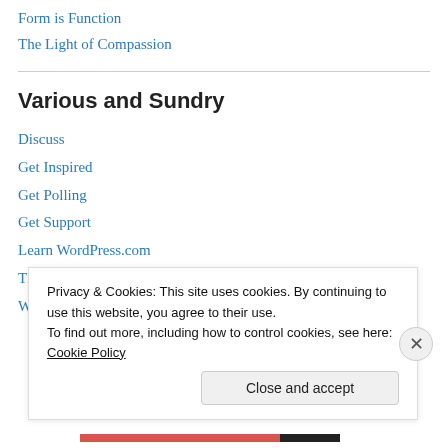Form is Function
The Light of Compassion
Various and Sundry
Discuss
Get Inspired
Get Polling
Get Support
Learn WordPress.com
Theme Showcase
WordPress Planet
Privacy & Cookies: This site uses cookies. By continuing to use this website, you agree to their use.
To find out more, including how to control cookies, see here: Cookie Policy
Close and accept